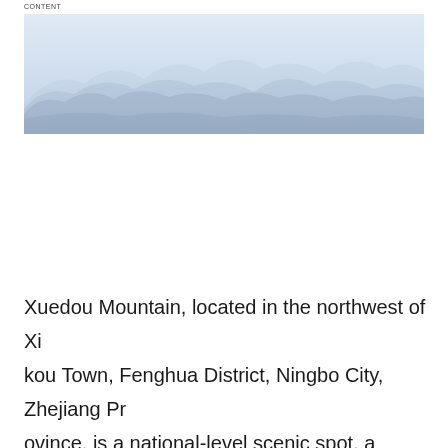CONTENT
[Figure (photo): Misty mountain landscape with soft blue-grey hues, mountains partially obscured by fog or haze in the background, wide panoramic shot]
Xuedou Mountain, located in the northwest of Xikou Town, Fenghua District, Ningbo City, Zhejiang Province, is a national-level scenic spot, a national forest park, and a national AAAAA-level tourist attractio